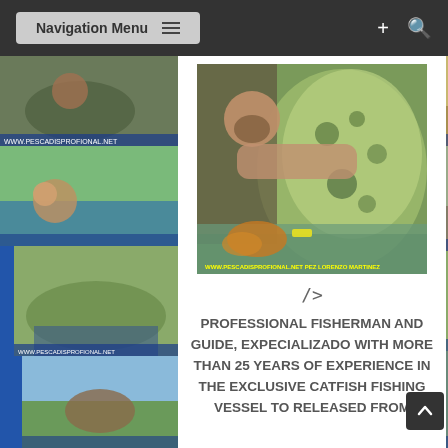Navigation Menu
[Figure (photo): A bearded man holding a large catfish partially submerged in water, with watermark text: WWW.PESCADISPROFIONAL.NET PEZ LORENZO MARTINEZ]
/>
PROFESSIONAL FISHERMAN AND GUIDE, EXPECIALIZADO WITH MORE THAN 25 YEARS OF EXPERIENCE IN THE EXCLUSIVE CATFISH FISHING VESSEL TO RELEASED FROM
[Figure (photo): Left side collage of fishing photos showing various catches and fishermen]
[Figure (photo): Right side collage of fishing photos showing various catches and fishermen]